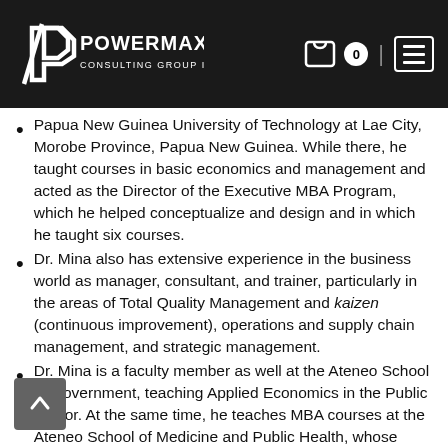POWERMAX CONSULTING GROUP INC.
Papua New Guinea University of Technology at Lae City, Morobe Province, Papua New Guinea. While there, he taught courses in basic economics and management and acted as the Director of the Executive MBA Program, which he helped conceptualize and design and in which he taught six courses.
Dr. Mina also has extensive experience in the business world as manager, consultant, and trainer, particularly in the areas of Total Quality Management and kaizen (continuous improvement), operations and supply chain management, and strategic management.
Dr. Mina is a faculty member as well at the Ateneo School of Government, teaching Applied Economics in the Public Sector. At the same time, he teaches MBA courses at the Ateneo School of Medicine and Public Health, whose curriculum seamlessly integrates medical science and management.
He has written and published several research papers